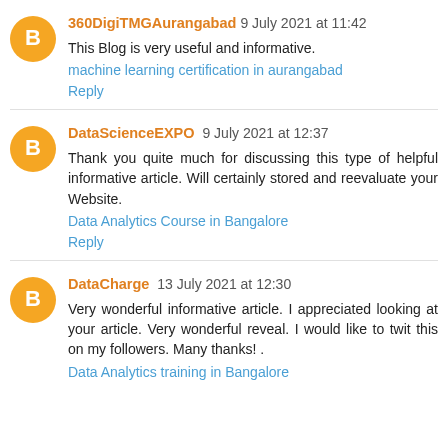360DigiTMGAurangabad 9 July 2021 at 11:42
This Blog is very useful and informative.
machine learning certification in aurangabad
Reply
DataScienceEXPO 9 July 2021 at 12:37
Thank you quite much for discussing this type of helpful informative article. Will certainly stored and reevaluate your Website.
Data Analytics Course in Bangalore
Reply
DataCharge 13 July 2021 at 12:30
Very wonderful informative article. I appreciated looking at your article. Very wonderful reveal. I would like to twit this on my followers. Many thanks! .
Data Analytics training in Bangalore